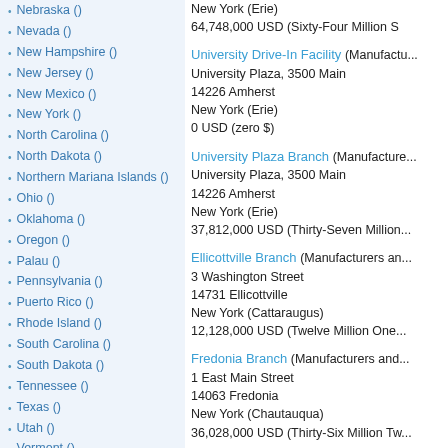Nebraska ()
Nevada ()
New Hampshire ()
New Jersey ()
New Mexico ()
New York ()
North Carolina ()
North Dakota ()
Northern Mariana Islands ()
Ohio ()
Oklahoma ()
Oregon ()
Palau ()
Pennsylvania ()
Puerto Rico ()
Rhode Island ()
South Carolina ()
South Dakota ()
Tennessee ()
Texas ()
Utah ()
Vermont ()
Virgin Islands ()
Virginia ()
Washington ()
West Virginia ()
Wisconsin ()
Wyoming ()
##Szablon_
(15)
AGRICULTURAL (4296)
University Drive-In Facility (Manufactu... University Plaza, 3500 Main 14226 Amherst New York (Erie) 0 USD (zero $)
University Plaza Branch (Manufacture... University Plaza, 3500 Main 14226 Amherst New York (Erie) 37,812,000 USD (Thirty-Seven Million...
Ellicottville Branch (Manufacturers an... 3 Washington Street 14731 Ellicottville New York (Cattaraugus) 12,128,000 USD (Twelve Million One...
Fredonia Branch (Manufacturers and... 1 East Main Street 14063 Fredonia New York (Chautauqua) 36,028,000 USD (Thirty-Six Million Tw...
Fredonia Drive-In Facility (Manufactu... 24 East Main Street 14063 Fredonia New York (Chautauqua) 0 USD (zero $)
Grand Island Branch (Manufacture...